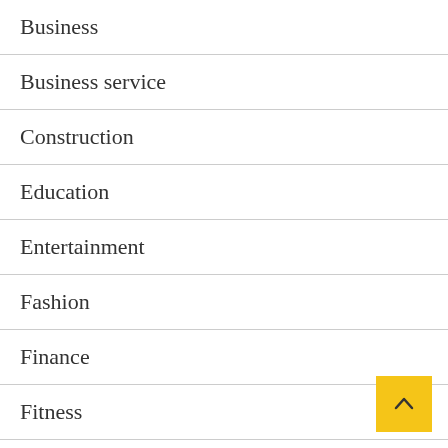Business
Business service
Construction
Education
Entertainment
Fashion
Finance
Fitness
Food
Games